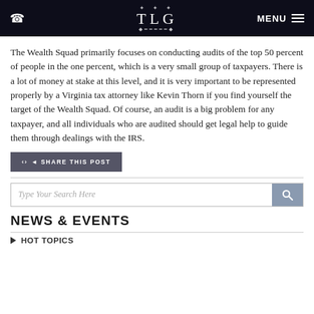TLG — MENU
The Wealth Squad primarily focuses on conducting audits of the top 50 percent of people in the one percent, which is a very small group of taxpayers. There is a lot of money at stake at this level, and it is very important to be represented properly by a Virginia tax attorney like Kevin Thorn if you find yourself the target of the Wealth Squad.  Of course, an audit is a big problem for any taxpayer, and all individuals who are audited should get legal help to guide them through dealings with the IRS.
SHARE THIS POST
Type Your Search Here
NEWS & EVENTS
HOT TOPICS